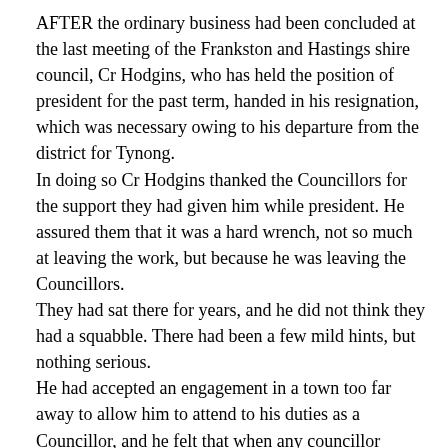AFTER the ordinary business had been concluded at the last meeting of the Frankston and Hastings shire council, Cr Hodgins, who has held the position of president for the past term, handed in his resignation, which was necessary owing to his departure from the district for Tynong.
In doing so Cr Hodgins thanked the Councillors for the support they had given him while president. He assured them that it was a hard wrench, not so much at leaving the work, but because he was leaving the Councillors.
They had sat there for years, and he did not think they had a squabble. There had been a few mild hints, but nothing serious.
He had accepted an engagement in a town too far away to allow him to attend to his duties as a Councillor, and he felt that when any councillor found that he could not give enough time to council matters he should resign. He was sorry that Crs Griffeth and Murray were not present, so that